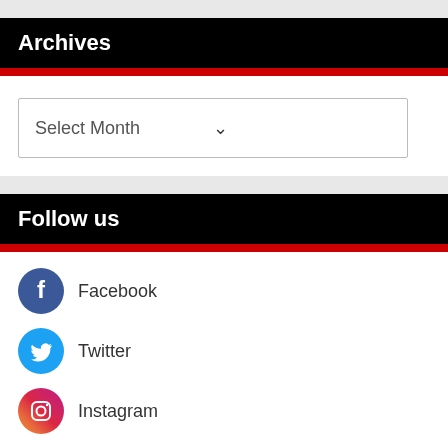Archives
Select Month
Follow us
Facebook
Twitter
Instagram
Linkedin